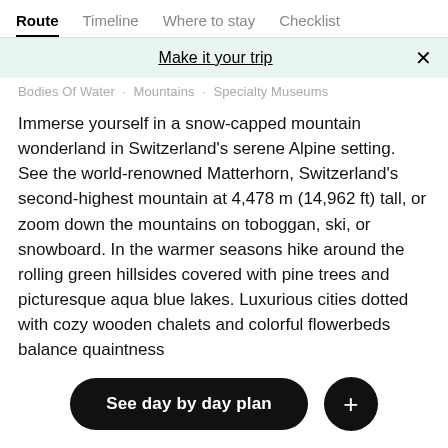Route · Timeline · Where to stay · Checklist
Make it your trip
Bodies Of Water · Mountains · Specialty Museums
Immerse yourself in a snow-capped mountain wonderland in Switzerland's serene Alpine setting. See the world-renowned Matterhorn, Switzerland's second-highest mountain at 4,478 m (14,962 ft) tall, or zoom down the mountains on toboggan, ski, or snowboard. In the warmer seasons hike around the rolling green hillsides covered with pine trees and picturesque aqua blue lakes. Luxurious cities dotted with cozy wooden chalets and colorful flowerbeds balance quaintness
more
See day by day plan